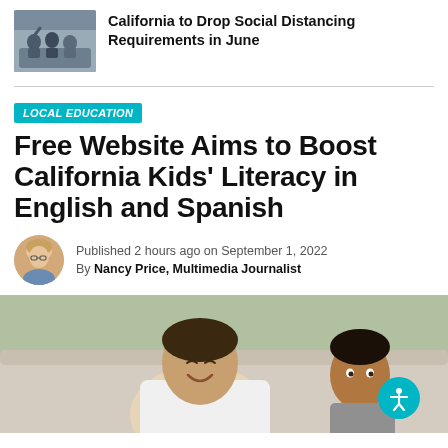[Figure (photo): Group of people sitting together, social distancing teaser thumbnail]
California to Drop Social Distancing Requirements in June
LOCAL EDUCATION
Free Website Aims to Boost California Kids' Literacy in English and Spanish
Published 2 hours ago on September 1, 2022
By Nancy Price, Multimedia Journalist
[Figure (photo): Adult man and young boy smiling together, looking at something off-screen, hero image for article]